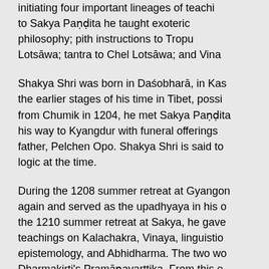Tibetan Buddhism is characterized by his initiating four important lineages of teaching: to Sakya Paṇḍita he taught exoteric philosophy; pith instructions to Tropu Lotsāwa; tantra to Chel Lotsāwa; and Vina...
Shakya Shri was born in Daśobharā, in Kas... the earlier stages of his time in Tibet, possi... from Chumik in 1204, he met Sakya Paṇḍita... his way to Kyangdur with funeral offerings... father, Pelchen Opo. Shakya Shri is said to... logic at the time.
During the 1208 summer retreat at Gyangon... again and served as the upadhyaya in his o... the 1210 summer retreat at Sakya, he gave... teachings on Kalachakra, Vinaya, linguistic... epistemology, and Abhidharma. The two we... Dharmakirti's Pramāṇavarttika. From this o... often credited with initiating the tradition o... while some dispute this characterization, h... tradition was considerable.